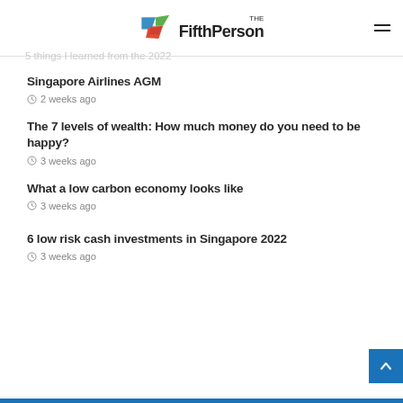The Fifth Person
5 things I learned from the 2022
Singapore Airlines AGM
2 weeks ago
The 7 levels of wealth: How much money do you need to be happy?
3 weeks ago
What a low carbon economy looks like
3 weeks ago
6 low risk cash investments in Singapore 2022
3 weeks ago